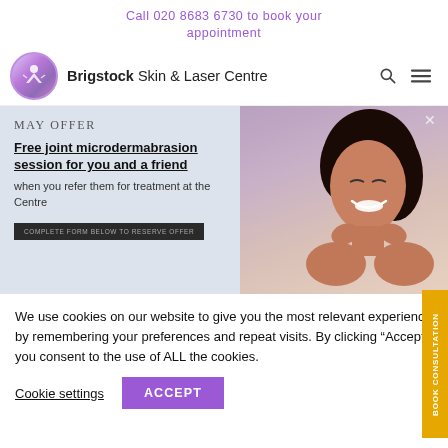Call 020 8683 6730 to book your appointment
[Figure (logo): Brigstock Skin & Laser Centre logo with circular purple/pink star figure]
Brigstock Skin & Laser Centre
[Figure (infographic): May Offer banner: Free joint microdermabrasion session for you and a friend when you refer them for treatment at the Centre. Complete form below to reserve offer. Photo of smiling woman touching her face.]
We use cookies on our website to give you the most relevant experience by remembering your preferences and repeat visits. By clicking “Accept”, you consent to the use of ALL the cookies.
Cookie settings
ACCEPT